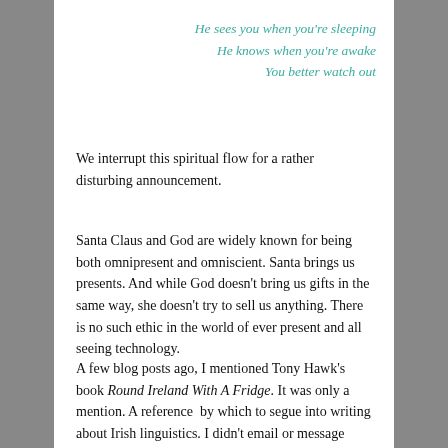He sees you when you're sleeping
He knows when you're awake
You better watch out
We interrupt this spiritual flow for a rather disturbing announcement.
Santa Claus and God are widely known for being both omnipresent and omniscient. Santa brings us presents. And while God doesn't bring us gifts in the same way, she doesn't try to sell us anything. There is no such ethic in the world of ever present and all seeing technology.
A few blog posts ago, I mentioned Tony Hawk's book Round Ireland With A Fridge. It was only a mention. A reference by which to segue into writing about Irish linguistics. I didn't email or message about this. I didn't search for the book on the internet as I have it on my bookshelf. I just mentioned it here on this platform. So I was greatly surprised two days